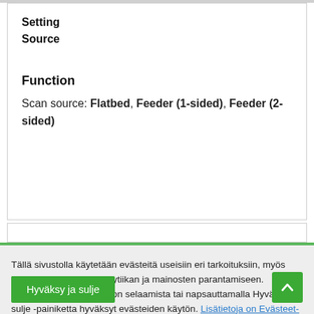| Setting | Function |
| --- | --- |
| Source | Scan source: Flatbed, Feeder (1-sided), Feeder (2-sided) |
Tällä sivustolla käytetään evästeitä useisiin eri tarkoituksiin, myös käyttökokemuksen, analytiikan ja mainosten parantamiseen. Jatkamalla tämän sivuston selaamista tai napsauttamalla Hyväksy ja sulje -painiketta hyväksyt evästeiden käytön. Lisätietoja on Evästeet-sivulla.
Hyväksy ja sulje